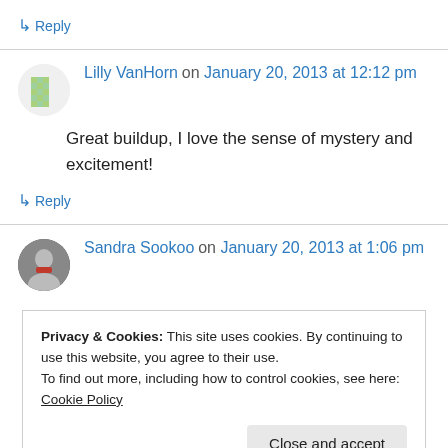↳ Reply
Lilly VanHorn on January 20, 2013 at 12:12 pm
Great buildup, I love the sense of mystery and excitement!
↳ Reply
Sandra Sookoo on January 20, 2013 at 1:06 pm
Privacy & Cookies: This site uses cookies. By continuing to use this website, you agree to their use. To find out more, including how to control cookies, see here: Cookie Policy
Close and accept